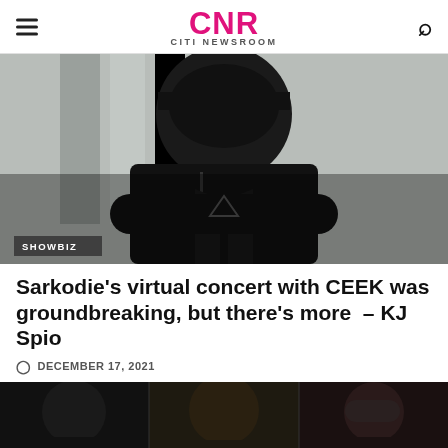CNR CITI NEWSROOM
[Figure (photo): A Black man wearing a black cap and black Prada jacket with arms crossed, looking to the side. Background shows blurred architectural panels. SHOWBIZ tag overlaid at bottom left.]
Sarkodie's virtual concert with CEEK was groundbreaking, but there's more  – KJ Spio
DECEMBER 17, 2021
[Figure (photo): Three people shown from shoulders up, partially cropped at bottom of page.]